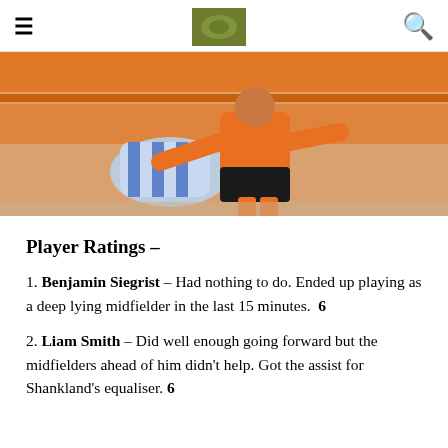≡  [logo]  🔍
[Figure (photo): Two football players in action — one in orange kit, one in blue-and-white checkered kit — during a match at a stadium with orange seats.]
Player Ratings –
1. Benjamin Siegrist – Had nothing to do. Ended up playing as a deep lying midfielder in the last 15 minutes.  6
2. Liam Smith – Did well enough going forward but the midfielders ahead of him didn't help. Got the assist for Shankland's equaliser. 6